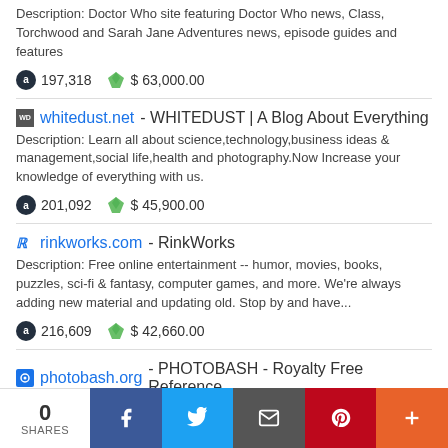Description: Doctor Who site featuring Doctor Who news, Class, Torchwood and Sarah Jane Adventures news, episode guides and features
197,318   $ 63,000.00
whitedust.net - WHITEDUST | A Blog About Everything
Description: Learn all about science,technology,business ideas & management,social life,health and photography.Now Increase your knowledge of everything with us.
201,092   $ 45,900.00
rinkworks.com - RinkWorks
Description: Free online entertainment -- humor, movies, books, puzzles, sci-fi & fantasy, computer games, and more. We're always adding new material and updating old. Stop by and have...
216,609   $ 42,660.00
photobash.org - PHOTOBASH - Royalty Free Reference
0 SHARES